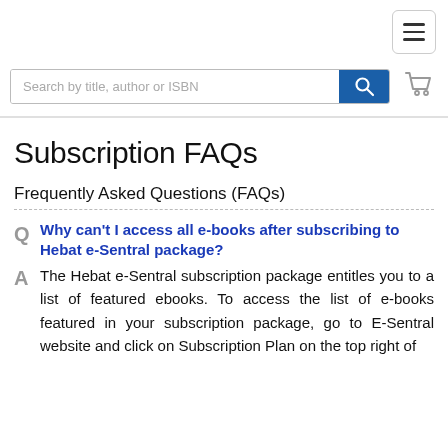[Figure (screenshot): Navigation menu hamburger button (three horizontal lines) in top right corner]
[Figure (screenshot): Search bar with placeholder text 'Search by title, author or ISBN', a blue search button with magnifying glass icon, and a shopping cart icon]
Subscription FAQs
Frequently Asked Questions (FAQs)
Q Why can't I access all e-books after subscribing to Hebat e-Sentral package?
A The Hebat e-Sentral subscription package entitles you to a list of featured ebooks. To access the list of e-books featured in your subscription package, go to E-Sentral website and click on Subscription Plan on the top right of